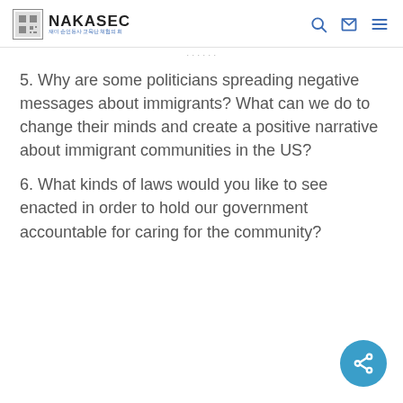NAKASEC
5. Why are some politicians spreading negative messages about immigrants? What can we do to change their minds and create a positive narrative about immigrant communities in the US?
6. What kinds of laws would you like to see enacted in order to hold our government accountable for caring for the community?